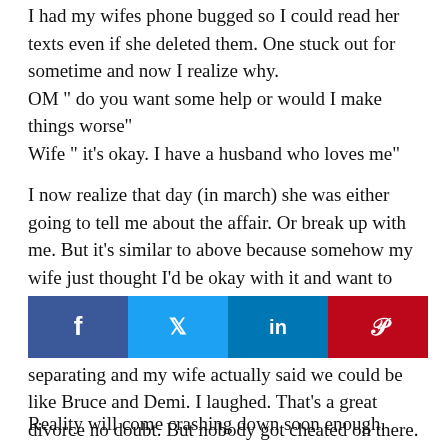I had my wifes phone bugged so I could read her texts even if she deleted them. One stuck out for sometime and now I realize why.
OM " do you want some help or would I make things worse"
Wife " it's okay. I have a husband who loves me"
I now realize that day (in march) she was either going to tell me about the affair. Or break up with me. But it's similar to above because somehow my wife just thought I'd be okay with it and want to see her happy despite.
The second is the Bruce and Demi thing. We are separating and my wife actually said we could be like Bruce and Demi. I laughed. That's a great divorce no doubt. But nobody got cheated on there.
More of the fantasy my wife is living.
[Figure (other): Social share buttons bar with Facebook (blue), Twitter (light blue), LinkedIn (dark blue), Pinterest (red) icons]
Reality will come crashing down soon enough.